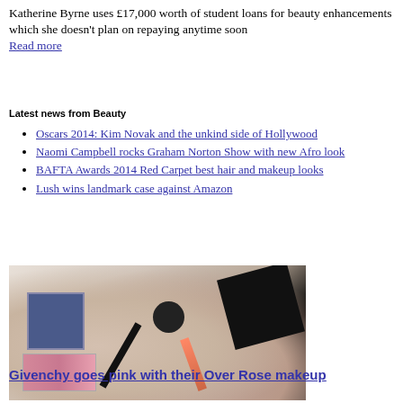Katherine Byrne uses £17,000 worth of student loans for beauty enhancements which she doesn't plan on repaying anytime soon Read more
Latest news from Beauty
Oscars 2014: Kim Novak and the unkind side of Hollywood
Naomi Campbell rocks Graham Norton Show with new Afro look
BAFTA Awards 2014 Red Carpet best hair and makeup looks
Lush wins landmark case against Amazon
[Figure (photo): Givenchy makeup products including a blue square palette, black compact, mascara, lipstick, and pink palette arranged on a white fur/fluffy surface with black Givenchy packaging box]
Givenchy goes pink with their Over Rose makeup